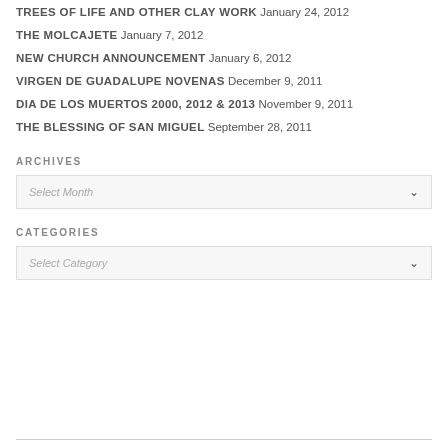TREES OF LIFE AND OTHER CLAY WORK January 24, 2012
THE MOLCAJETE January 7, 2012
NEW CHURCH ANNOUNCEMENT January 6, 2012
VIRGEN DE GUADALUPE NOVENAS December 9, 2011
DIA DE LOS MUERTOS 2000, 2012 & 2013 November 9, 2011
THE BLESSING OF SAN MIGUEL September 28, 2011
ARCHIVES
Select Month
CATEGORIES
Select Category